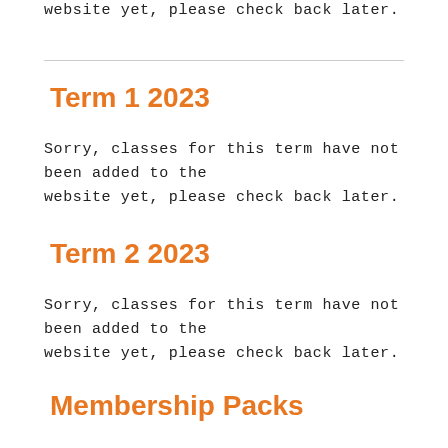website yet, please check back later.
Term 1 2023
Sorry, classes for this term have not been added to the website yet, please check back later.
Term 2 2023
Sorry, classes for this term have not been added to the website yet, please check back later.
Membership Packs